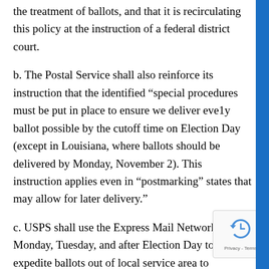the treatment of ballots, and that it is recirculating this policy at the instruction of a federal district court.
b. The Postal Service shall also reinforce its instruction that the identified “special procedures must be put in place to ensure we deliver eve1y ballot possible by the cutoff time on Election Day (except in Louisiana, where ballots should be delivered by Monday, November 2). This instruction applies even in “postmarking” states that may allow for later delivery.”
c. USPS shall use the Express Mail Network on Monday, Tuesday, and after Election Day to expedite ballots out of local service area to